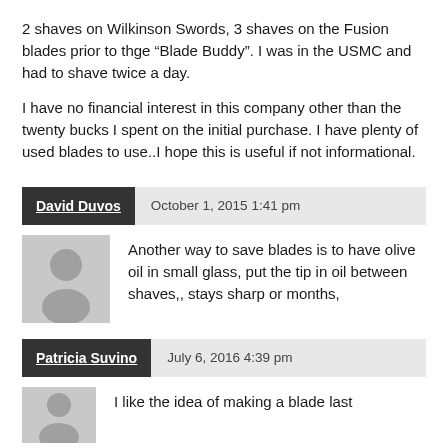2 shaves on Wilkinson Swords, 3 shaves on the Fusion blades prior to thge “Blade Buddy”. I was in the USMC and had to shave twice a day.
I have no financial interest in this company other than the twenty bucks I spent on the initial purchase. I have plenty of used blades to use..I hope this is useful if not informational.
David Duvos  October 1, 2015 1:41 pm
Another way to save blades is to have olive oil in small glass, put the tip in oil between shaves,, stays sharp or months,
Patricia Suvino  July 6, 2016 4:39 pm
I like the idea of making a blade last